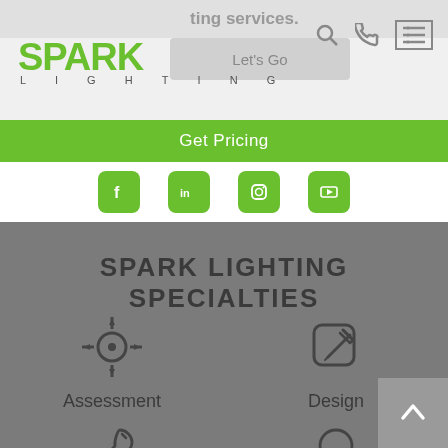[Figure (logo): Spark Lighting logo with green text and LIGHTING subtitle in gray]
[Figure (screenshot): Header navigation area with search, phone, and menu icons on gray background]
Get Pricing
[Figure (infographic): Social media icons row: Facebook, LinkedIn, Instagram, YouTube in green rounded squares]
SPARK LIGHTING SPECIALTIES
[Figure (infographic): Four specialty icons: Assessment (crosshair), Design (edit/pencil), Installation (wrench), Expertise (lightbulb)]
Assessment
Design
Installation
Expertise